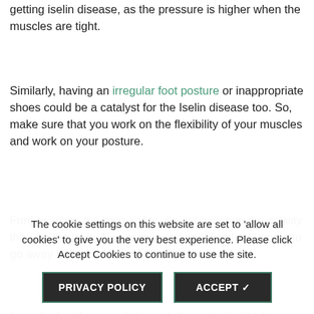getting iselin disease, as the pressure is higher when the muscles are tight.
Similarly, having an irregular foot posture or inappropriate shoes could be a catalyst for the Iselin disease too. So, make sure that you work on the flexibility of your muscles and work on your posture.
Further, when the pain arises, do not continue the activity through the pain. Always rest well and wait for the pain to go away before restarting the activity.
In particular, if you work through the pain, it will take longer for it to heal so be aware and take precautions.
The cookie settings on this website are set to 'allow all cookies' to give you the very best experience. Please click Accept Cookies to continue to use the site.
PRIVACY POLICY
ACCEPT ✓